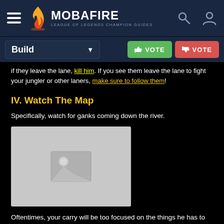MOBAFIRE — LEAGUE OF LEGENDS CHAMPION GUIDES
if they leave the lane, kill him. If you see them leave the lane to fight your jungler or other laners, make sure to follow them!
IV. Watch The Map
Specifically, watch for ganks coming down the river.
[Figure (photo): Placeholder image (grey box with image icon)]
Oftentimes, your carry will be too focused on the things he has to do, which is last hitting minions, fighting the enemy and not getting killed, so it is your job to alert him to an incoming gank.